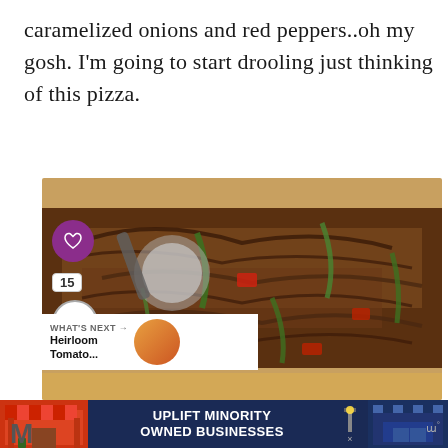caramelized onions and red peppers..oh my gosh. I'm going to start drooling just thinking of this pizza.
[Figure (photo): Close-up photo of a sheet pan pizza topped with shredded braised beef, caramelized onions, red peppers, and green onions, with a pizza cutter visible. Overlaid UI elements include a purple heart/like button, a count badge showing 15, a share button, and a 'What's Next' preview showing 'Heirloom Tomato...']
[Figure (infographic): Advertisement banner for 'Uplift Minority Owned Businesses' with a store graphic on the left and right, dark blue background, white bold text in center.]